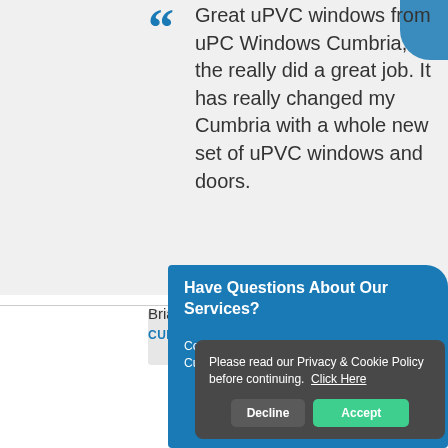Great uPVC windows from uPC Windows Cumbria, the really did a great job. It has really changed my Cumbria with a whole new set of uPVC windows and doors.
Brian Gonzalez
CUMBRIA
Have Questions About Our Services?
Contact uPVC Today for uP Cumbria.
Please read our Privacy & Cookie Policy before continuing.  Click Here
Decline
Accept